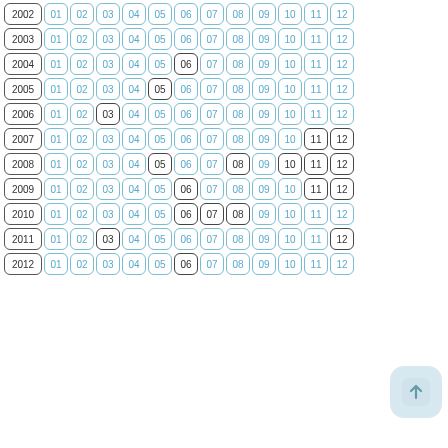2002: 01 02 03 04 05 06 07 08 09 10 11 12
2003: 01 02 03 04 05 06 07 08 09 10 11 12
2004: 01 02 03 04 05 06 07 08 09 10 11 12 (06 highlighted dark)
2005: 01 02 03 04 05 06 07 08 09 10 11 12 (05 highlighted dark)
2006: 01 02 03 04 05 06 07 08 09 10 11 12 (03 highlighted dark)
2007: 01 02 03 04 05 06 07 08 09 10 11 12 (11 12 highlighted dark)
2008: 01 02 03 04 05 06 07 08 09 10 11 12 (05 08 10 11 12 highlighted dark)
2009: 01 02 03 04 05 06 07 08 09 10 11 12 (06 11 12 highlighted dark)
2010: 01 02 03 04 05 06 07 08 09 10 11 12 (06 07 08 highlighted dark)
2011: 01 02 03 04 05 06 07 08 09 10 11 12 (03 12 highlighted dark)
2012: 01 02 03 04 05 06 07 08 09 10 11 12 (06 highlighted dark)